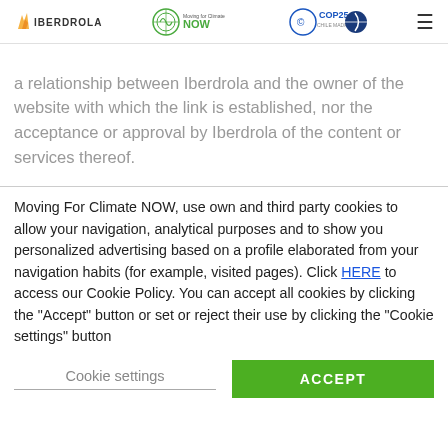Iberdrola | Moving For Climate NOW | COP25
a relationship between Iberdrola and the owner of the website with which the link is established, nor the acceptance or approval by Iberdrola of the content or services thereof.
Moving For Climate NOW, use own and third party cookies to allow your navigation, analytical purposes and to show you personalized advertising based on a profile elaborated from your navigation habits (for example, visited pages). Click HERE to access our Cookie Policy. You can accept all cookies by clicking the "Accept" button or set or reject their use by clicking the "Cookie settings" button
Cookie settings | ACCEPT